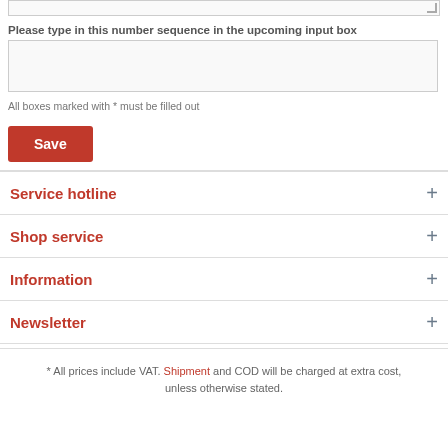Please type in this number sequence in the upcoming input box
All boxes marked with * must be filled out
Save
Service hotline
Shop service
Information
Newsletter
* All prices include VAT. Shipment and COD will be charged at extra cost, unless otherwise stated.